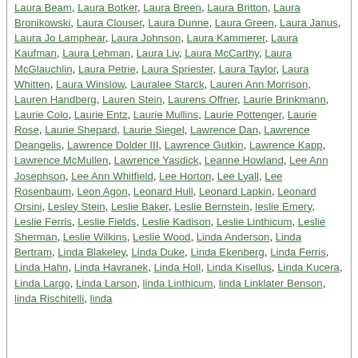Laura Beam, Laura Botker, Laura Breen, Laura Britton, Laura Bronikowski, Laura Clouser, Laura Dunne, Laura Green, Laura Janus, Laura Jo Lamphear, Laura Johnson, Laura Kammerer, Laura Kaufman, Laura Lehman, Laura Liv, Laura McCarthy, Laura McGlauchlin, Laura Petrie, Laura Spriester, Laura Taylor, Laura Whitten, Laura Winslow, Lauralee Starck, Lauren Ann Morrison, Lauren Handberg, Lauren Stein, Laurens Offner, Laurie Brinkmann, Laurie Colo, Laurie Entz, Laurie Mullins, Laurie Pottenger, Laurie Rose, Laurie Shepard, Laurie Siegel, Lawrence Dan, Lawrence Deangelis, Lawrence Dolder III, Lawrence Gutkin, Lawrence Kapp, Lawrence McMullen, Lawrence Yasdick, Leanne Howland, Lee Ann Josephson, Lee Ann Whitfield, Lee Horton, Lee Lyall, Lee Rosenbaum, Leon Agon, Leonard Hull, Leonard Lapkin, Leonard Orsini, Lesley Stein, Leslie Baker, Leslie Bernstein, leslie Emery, Leslie Ferris, Leslie Fields, Leslie Kadison, Leslie Linthicum, Leslie Sherman, Leslie Wilkins, Leslie Wood, Linda Anderson, Linda Bertram, Linda Blakeley, Linda Duke, Linda Ekenberg, Linda Ferris, Linda Hahn, Linda Havranek, Linda Holl, Linda Kisellus, Linda Kucera, Linda Largo, Linda Larson, linda Linthicum, linda Linklater Benson, linda Rischitelli, linda...